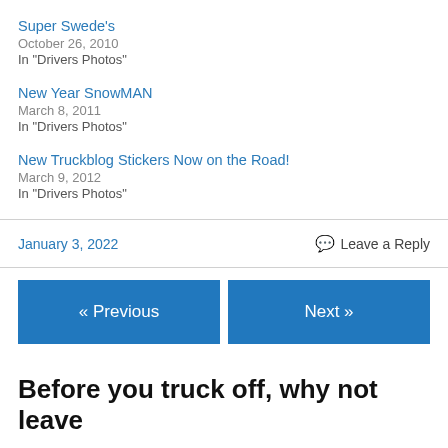Super Swede's
October 26, 2010
In "Drivers Photos"
New Year SnowMAN
March 8, 2011
In "Drivers Photos"
New Truckblog Stickers Now on the Road!
March 9, 2012
In "Drivers Photos"
January 3, 2022
Leave a Reply
« Previous
Next »
Before you truck off, why not leave